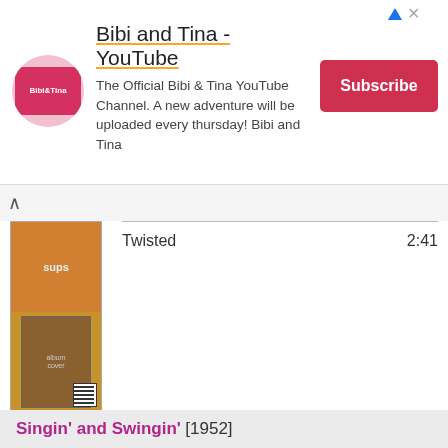[Figure (screenshot): Bibi and Tina YouTube channel advertisement banner with logo, description text and Subscribe button]
Twisted  2:41
[Figure (photo): Album cover thumbnail for previous album showing orange cover with 'sups' text and a portrait photo below]
Singin' and Swingin' [1952]
[Figure (photo): Album cover for Singin' and Swingin' showing white/cream sheet music style cover with 'SINGIN AND SWINGIN' text]
| Song | Duration |
| --- | --- |
| My Man | 3:00 |
| I Can't Get Started | 2:38 |
| Between the Devil and the Deep Blue Sea | 2:51 |